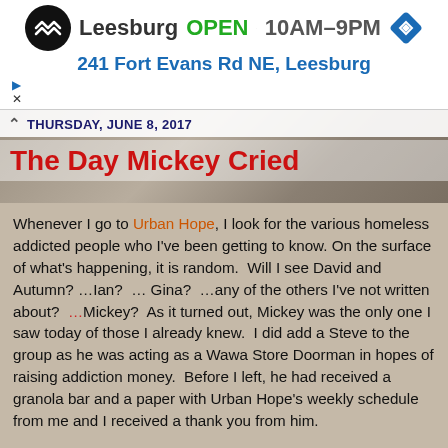[Figure (advertisement): Store ad banner: Leesburg OPEN 10AM-9PM, 241 Fort Evans Rd NE Leesburg, with logo and navigation icon]
THURSDAY, JUNE 8, 2017
The Day Mickey Cried
Whenever I go to Urban Hope, I look for the various homeless addicted people who I've been getting to know. On the surface of what's happening, it is random. Will I see David and Autumn? ...Ian? ... Gina? ...any of the others I've not written about? ...Mickey? As it turned out, Mickey was the only one I saw today of those I already knew. I did add a Steve to the group as he was acting as a Wawa Store Doorman in hopes of raising addiction money. Before I left, he had received a granola bar and a paper with Urban Hope's weekly schedule from me and I received a thank you from him.
I sat in the Wawa parking lot and ate my Chef Salad with its